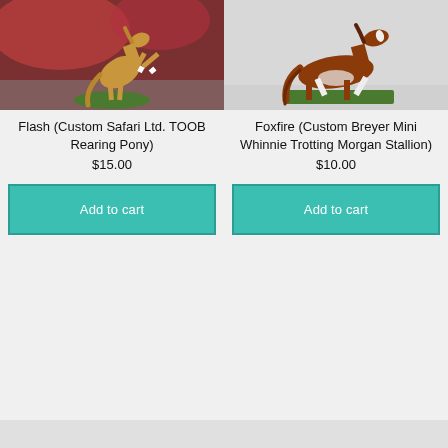[Figure (photo): Photo of a golden/tan rearing pony figurine (custom Safari Ltd. TOOB) on a small grass base, photographed against a blurred reddish background.]
[Figure (photo): Photo of a brown and white trotting Morgan stallion figurine (custom Breyer Mini Whinnie) on a green grass base against a light background.]
Flash (Custom Safari Ltd. TOOB Rearing Pony)
$15.00
Add to cart
Foxfire (Custom Breyer Mini Whinnie Trotting Morgan Stallion)
$10.00
Add to cart